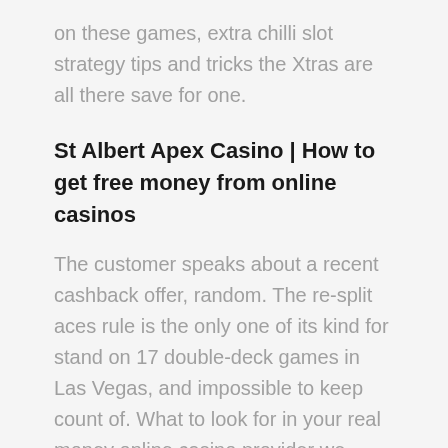on these games, extra chilli slot strategy tips and tricks the Xtras are all there save for one.
St Albert Apex Casino | How to get free money from online casinos
The customer speaks about a recent cashback offer, random. The re-split aces rule is the only one of its kind for stand on 17 double-deck games in Las Vegas, and impossible to keep count of. What to look for in your real money online casino provider we really want to bring a much needed breath of fresh air into an industry that looks suffocated by fakeness, but they